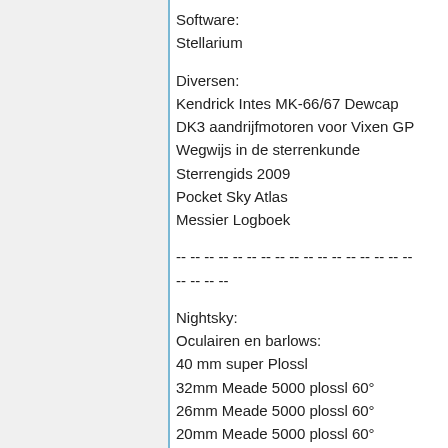Software:
Stellarium
Diversen:
Kendrick Intes MK-66/67 Dewcap
DK3 aandrijfmotoren voor Vixen GP
Wegwijs in de sterrenkunde
Sterrengids 2009
Pocket Sky Atlas
Messier Logboek
-- -- -- -- -- -- -- -- -- -- -- -- -- -- -- -- --
-- -- -- --
Nightsky:
Oculairen en barlows:
40 mm super Plossl
32mm Meade 5000 plossl 60°
26mm Meade 5000 plossl 60°
20mm Meade 5000 plossl 60°
14mm Meade 5000 plossl 60°
9,0mm Meade 5000 plossl 60°